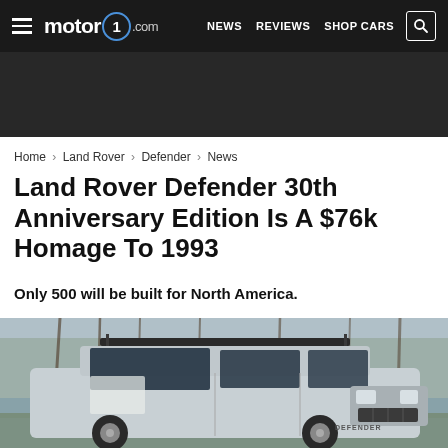motor1.com | NEWS  REVIEWS  SHOP CARS
Home > Land Rover > Defender > News
Land Rover Defender 30th Anniversary Edition Is A $76k Homage To 1993
Only 500 will be built for North America.
[Figure (photo): Land Rover Defender 30th Anniversary Edition in light blue/silver, parked near water with bare trees in background, featuring a roof rack]